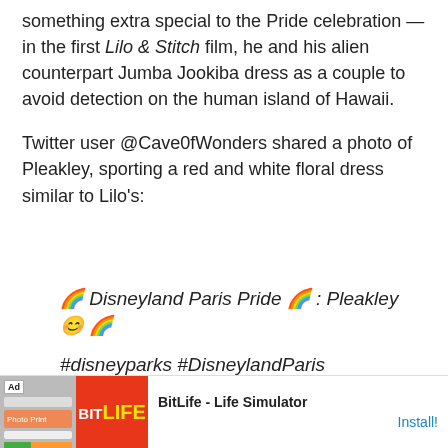something extra special to the Pride celebration — in the first Lilo & Stitch film, he and his alien counterpart Jumba Jookiba dress as a couple to avoid detection on the human island of Hawaii.
Twitter user @Cave0fWonders shared a photo of Pleakley, sporting a red and white floral dress similar to Lilo's:
🌈 Disneyland Paris Pride 🌈 : Pleakley 😊 🌈
#disneyparks #DisneylandParis #DisneylandParisPride
🌈 Disneyland Paris Pride 🌈 : Pleakley 😊
🌈#disneyparks #DisneylandParis
#DisneylandParisPride
[Figure (screenshot): Ad banner for BitLife - Life Simulator with red background and app icon. Install button visible.]